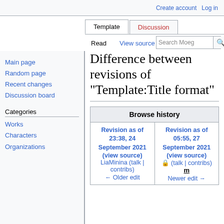Create account  Log in
Template  Discussion  Read  View source  View history  Search Moeg
Difference between revisions of "Template:Title format"
| Browse history |
| --- |
| Revision as of 23:38, 24 September 2021 (view source) | Revision as of 05:55, 27 September 2021 (view source) |
| LiaMinina (talk | contribs) | 🔒 (talk | contribs) |
| m |  |
| ← Older edit | Newer edit → |
Main page
Random page
Recent changes
Discussion board
Categories
Works
Characters
Organizations